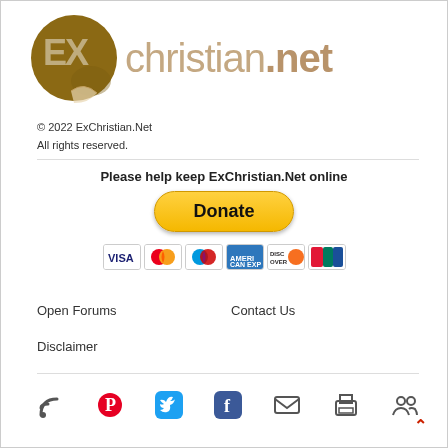[Figure (logo): ExChristian.Net logo with brown circle containing EX text and sticker peel effect, followed by 'christian.net' text in tan/beige color]
© 2022 ExChristian.Net
All rights reserved.
Please help keep ExChristian.Net online
[Figure (other): Yellow PayPal Donate button followed by payment method icons: Visa, Mastercard, Maestro, American Express, Discover, UnionPay]
Open Forums
Contact Us
Disclaimer
[Figure (other): Row of social media and navigation icons at bottom: RSS, Pinterest, Twitter, Facebook, Email, Print, and another icon]